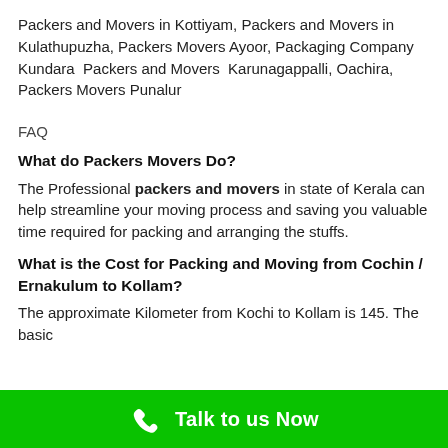Packers and Movers in Kottiyam, Packers and Movers in Kulathupuzha, Packers Movers Ayoor, Packaging Company Kundara  Packers and Movers  Karunagappalli, Oachira, Packers Movers Punalur
FAQ
What do Packers Movers Do?
The Professional packers and movers in state of Kerala can help streamline your moving process and saving you valuable time required for packing and arranging the stuffs.
What is the Cost for Packing and Moving from Cochin / Ernakulum to Kollam?
The approximate Kilometer from Kochi to Kollam is 145. The basic
Talk to us Now